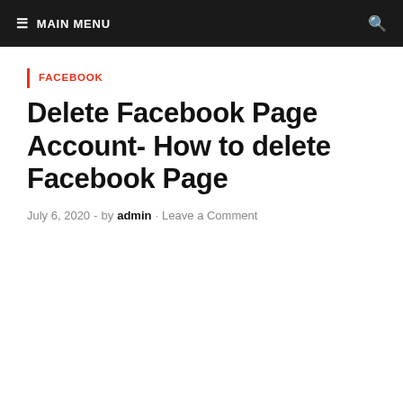≡ MAIN MENU
FACEBOOK
Delete Facebook Page Account- How to delete Facebook Page
July 6, 2020 - by admin · Leave a Comment